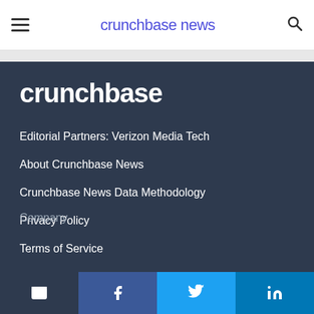crunchbase news
[Figure (logo): Crunchbase logo in white text on dark background]
Editorial Partners: Verizon Media Tech
About Crunchbase News
Crunchbase News Data Methodology
Privacy Policy
Terms of Service
Company
Email | Facebook | Twitter | LinkedIn